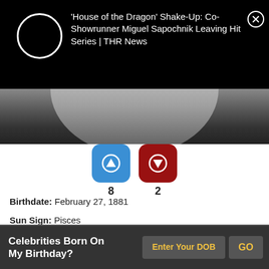[Figure (screenshot): Advertisement banner on black background with loading circle icon and article title text about House of the Dragon showrunner]
'House of the Dragon' Shake-Up: Co-Showrunner Miguel Sapochnik Leaving Hit Series | THR News
[Figure (photo): Black and white close-up photo of a man's chin and neck area in a dark suit]
[Figure (infographic): Voting buttons: blue upvote button with up arrow showing 8 votes, red downvote button with down arrow showing 2 votes]
Birthdate: February 27, 1881
Sun Sign: Pisces
Birthplace: Copenhagen
Birthdate: 25, 1950
Celebrities Born On My Birthday? Enter Your DOB GO